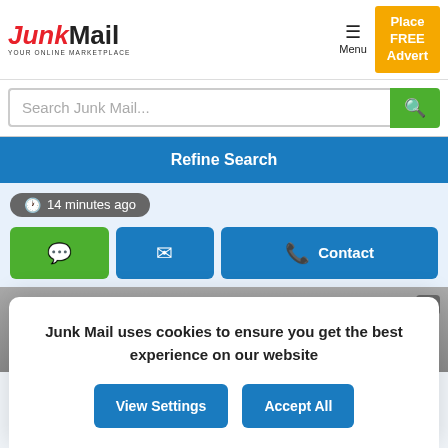[Figure (logo): JunkMail logo with red italic 'Junk' and black 'Mail', tagline 'YOUR ONLINE MARKETPLACE']
Place FREE Advert
Search Junk Mail...
Refine Search
14 minutes ago
Contact
Junk Mail uses cookies to ensure you get the best experience on our website
View Settings
Accept All